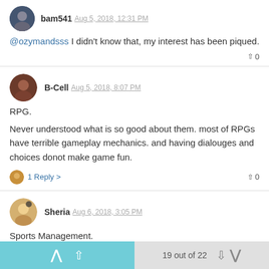bam541 Aug 5, 2018, 12:31 PM
@ozymandsss I didn't know that, my interest has been piqued.
B-Cell Aug 5, 2018, 8:07 PM
RPG.
Never understood what is so good about them. most of RPGs have terrible gameplay mechanics. and having dialouges and choices donot make game fun.
1 Reply >
Sheria Aug 6, 2018, 3:05 PM
Sports Management.
I used to have a friend who would spend 8 odd hours at a time faffing with football manager. even when I was around for a drink and to
19 out of 22